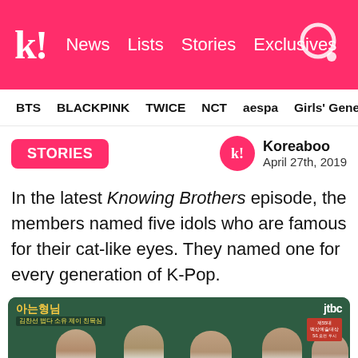k! News Lists Stories Exclusives
BTS BLACKPINK TWICE NCT aespa Girls' Generation
STORIES
Koreaboo
April 27th, 2019
In the latest Knowing Brothers episode, the members named five idols who are famous for their cat-like eyes. They named one for every generation of K-Pop.
[Figure (screenshot): Screenshot of Knowing Brothers JTBC TV show with K-pop female idols in school uniforms standing in front of a chalkboard]